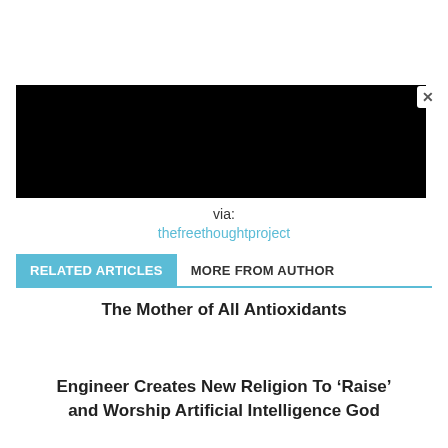[Figure (other): Black rectangular video/media embed area with a close (X) button in the upper right corner]
via:
thefreethoughtproject
RELATED ARTICLES   MORE FROM AUTHOR
The Mother of All Antioxidants
Engineer Creates New Religion To ‘Raise’ and Worship Artificial Intelligence God